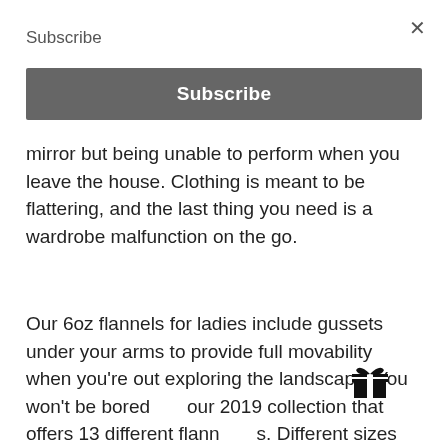×
Subscribe
[Figure (other): Subscribe button — dark gray rounded rectangle with white bold text 'Subscribe']
mirror but being unable to perform when you leave the house. Clothing is meant to be flattering, and the last thing you need is a wardrobe malfunction on the go.
Our 6oz flannels for ladies include gussets under your arms to provide full movability when you're out exploring the landscape. You won't be bored with our 2019 collection that offers 13 different flannel styles. Different sizes are available from S to 3X.
[Figure (illustration): Gift box icon (small black icon showing a wrapped present with ribbon)]